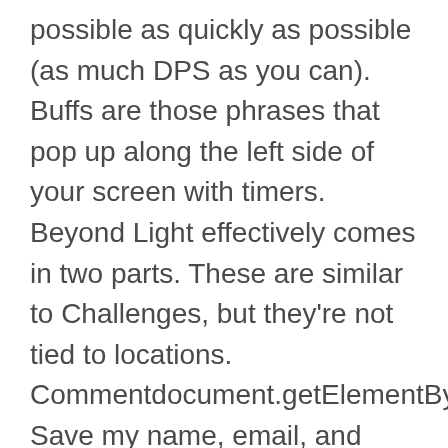possible as quickly as possible (as much DPS as you can). Buffs are those phrases that pop up along the left side of your screen with timers. Beyond Light effectively comes in two parts. These are similar to Challenges, but they're not tied to locations. Commentdocument.getElementById("comment").set Save my name, email, and website in this browser for the next time I comment. Our Destiny 2 guide explains everything you need to know, including choosing a class, a guide to Exotic armor, emotes, weapons, sparrows and ships, how to … Powerful Gear. some of the most challenging but fun games. Since they all share the same Vault, this is a quick way to level